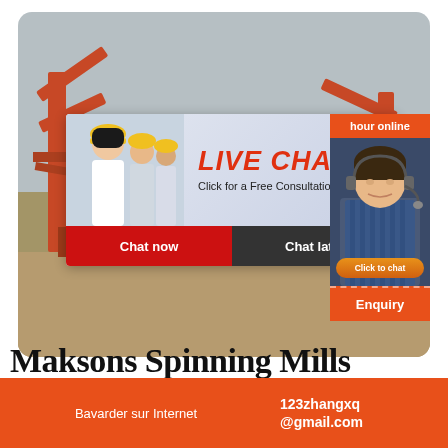[Figure (screenshot): Construction/mining site background photo with red machinery, sand piles, showing workers in yellow hard hats overlaid with a live chat popup dialog saying 'LIVE CHAT - Click for a Free Consultation' with Chat now and Chat later buttons. Right side shows an orange panel with 'hour online', a female customer service agent with headset, 'Click to chat' button, and 'Enquiry' label.]
Maksons Spinning Mills
Bavarder sur Internet
123zhangxq@gmail.com